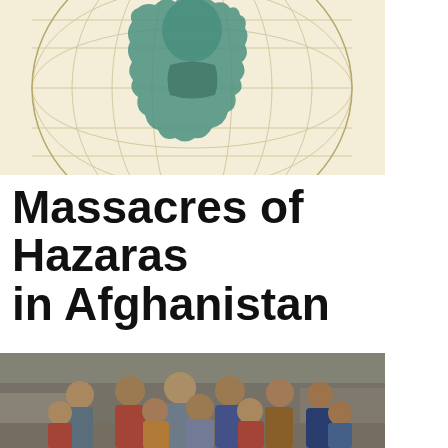[Figure (illustration): Partial globe/world map illustration in teal/green on a cream/beige background, showing grid lines and a shadowed figure silhouette]
Massacres of Hazaras in Afghanistan
[Figure (photo): A group of Hazara children smiling and making peace signs outdoors in an Afghan village setting]